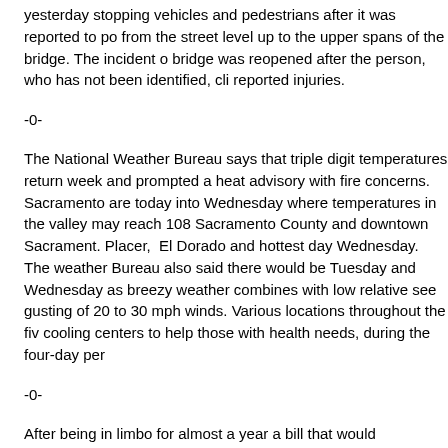yesterday stopping vehicles and pedestrians after it was reported to po from the street level up to the upper spans of the bridge. The incident o bridge was reopened after the person, who has not been identified, cli reported injuries.
-0-
The National Weather Bureau says that triple digit temperatures return week and prompted a heat advisory with fire concerns. Sacramento are today into Wednesday where temperatures in the valley may reach 108 Sacramento County and downtown Sacrament. Placer, El Dorado and hottest day Wednesday. The weather Bureau also said there would be Tuesday and Wednesday as breezy weather combines with low relative see gusting of 20 to 30 mph winds. Various locations throughout the fiv cooling centers to help those with health needs, during the four-day per
-0-
After being in limbo for almost a year a bill that would decriminalize loite prostitution, has been sent to Governor Newsom for signature. He has Senate bill 357 passed out of legislature last September with major obj and human trafficking support groups and a few moderate democratic l decriminalize sex work but does prevent police from using larger ring la workers. Critics say the measure makes it harder for law enforcement t sex trafficking which is a major concern in the Sacramento area, which